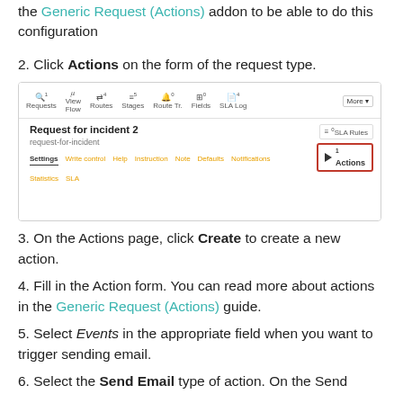the Generic Request (Actions) addon to be able to do this configuration
2. Click Actions on the form of the request type.
[Figure (screenshot): Screenshot of a request type form showing toolbar tabs (Requests, Flow, Routes, Stages, Route Tr., Fields, SLA Log, More) and body with title 'Request for incident 2', slug 'request-for-incident', navigation tabs (Settings, Write control, Help, Instruction, Note, Defaults, Notifications, Statistics, SLA), and a highlighted Actions button (with play icon and count 1) on the right side, along with SLA Rules button.]
3. On the Actions page, click Create to create a new action.
4. Fill in the Action form. You can read more about actions in the Generic Request (Actions) guide.
5. Select Events in the appropriate field when you want to trigger sending email.
6. Select the Send Email type of action. On the Send